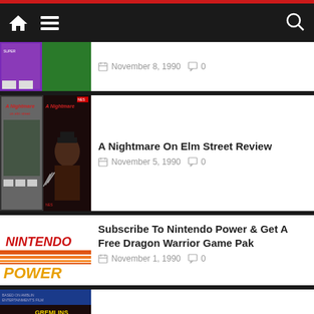Navigation bar with home, menu, and search icons
[Figure (screenshot): Partial article thumbnail - game box art, purple/green]
November 8, 1990  0
[Figure (screenshot): A Nightmare On Elm Street NES game box art]
A Nightmare On Elm Street Review
November 5, 1990  0
[Figure (illustration): Nintendo Power logo - red text with orange stripes]
Subscribe To Nintendo Power & Get A Free Dragon Warrior Game Pak
November 1, 1990  0
[Figure (screenshot): Gremlins 2 The New Batch NES game box art]
Gremlins 2: The New Batch Review
October 30, 1990  0
[Figure (screenshot): Partial article thumbnail at bottom - Super Mario game art]